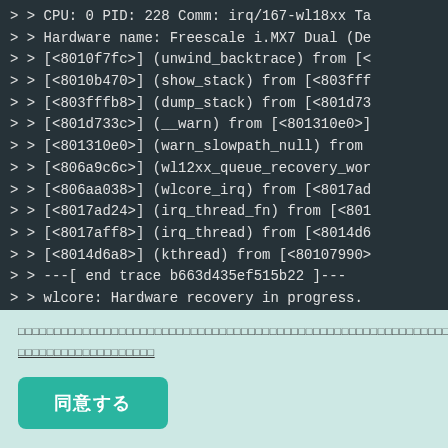[Figure (screenshot): Terminal/console output showing a kernel backtrace and wlcore hardware recovery messages on a dark background]
□□□□□□□□□□□□□□□□□□□□□□□□□□□□□□□□□□□□□□□□□□□□□□□□□□□□□□□□□□□□□□□□□□□□□□□□□□□□□□□□□□□□□□□□□□□□□□□□□□□□ □□□□□□□□□□□□□□□□□□□
同意する